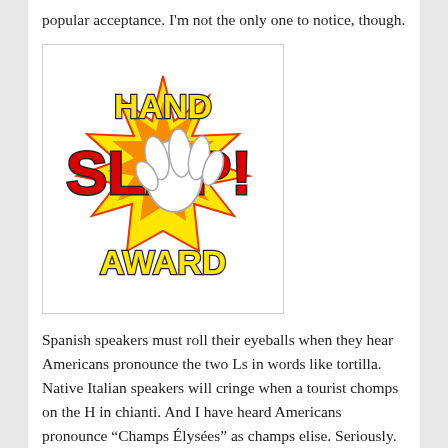popular acceptance. I'm not the only one to notice, though.
[Figure (illustration): Hand Slap Award logo: comic-style cartoon illustration with yellow bold text 'HAND' at top, large red letters 'SLAP!' overlaid with a white cartoon gloved hand in a slapping pose, surrounded by red and yellow starburst explosion, and 'AWARD' text at bottom in yellow with red outline, all on a white background within a gray border box.]
Spanish speakers must roll their eyeballs when they hear Americans pronounce the two Ls in words like tortilla. Native Italian speakers will cringe when a tourist chomps on the H in chianti. And I have heard Americans pronounce “Champs Élysées” as champs elise. Seriously.
My rant today will have no impact whatsoever on network newscasters, Food Network celebrity chefs, political